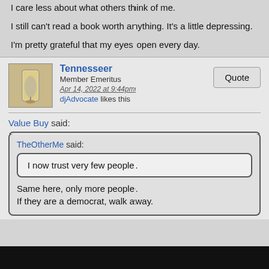I care less about what others think of me.
I still can't read a book worth anything. It's a little depressing.
I'm pretty grateful that my eyes open every day.
Tennesseer
Member Emeritus
Apr 14, 2022 at 9:44pm
djAdvocate likes this
Value Buy said:
TheOtherMe said:
I now trust very few people.
Same here, only more people.
If they are a democrat, walk away.